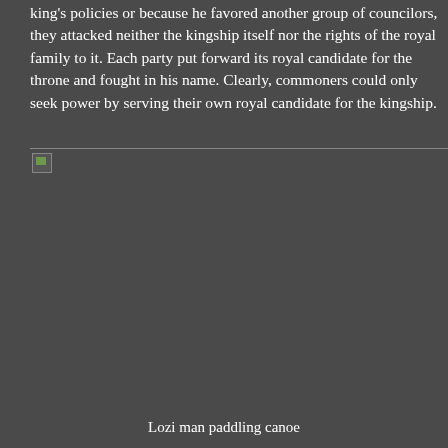king's policies or because he favored another group of councilors, they attacked neither the kingship itself nor the rights of the royal family to it. Each party put forward its royal candidate for the throne and fought in his name. Clearly, commoners could only seek power by serving their own royal candidate for the kingship.
[Figure (photo): Broken image placeholder with a small thumbnail icon (appears to be a photo of a Lozi man paddling a canoe, but image failed to load)]
Lozi man paddling canoe